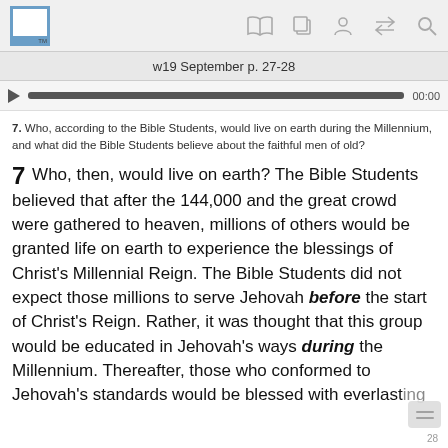w19 September p. 27-28
7. Who, according to the Bible Students, would live on earth during the Millennium, and what did the Bible Students believe about the faithful men of old?
7 Who, then, would live on earth? The Bible Students believed that after the 144,000 and the great crowd were gathered to heaven, millions of others would be granted life on earth to experience the blessings of Christ's Millennial Reign. The Bible Students did not expect those millions to serve Jehovah before the start of Christ's Reign. Rather, it was thought that this group would be educated in Jehovah's ways during the Millennium. Thereafter, those who conformed to Jehovah's standards would be blessed with everlasting life on earth, whereas those who rebelled would be...
28